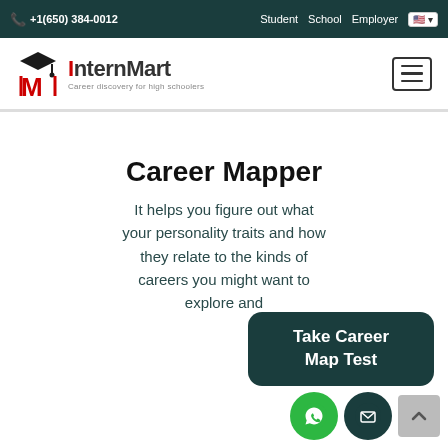+1(650) 384-0012   Student   School   Employer
[Figure (logo): InternMart logo with red M icon and graduation cap, tagline: Career discovery for high schoolers]
Career Mapper
It helps you figure out what your personality traits and how they relate to the kinds of careers you might want to explore and
[Figure (other): Take Career Map Test button (dark teal rounded rectangle)]
[Figure (other): WhatsApp icon circle (green), Email icon circle (dark teal), Scroll-to-top button (grey)]